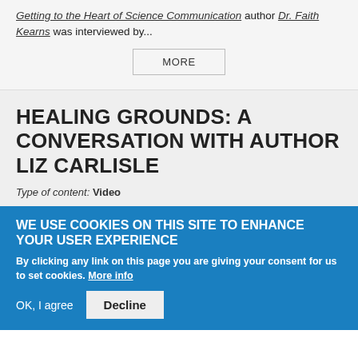Getting to the Heart of Science Communication author Dr. Faith Kearns was interviewed by...
MORE
HEALING GROUNDS: A CONVERSATION WITH AUTHOR LIZ CARLISLE
Type of content: Video
WE USE COOKIES ON THIS SITE TO ENHANCE YOUR USER EXPERIENCE
By clicking any link on this page you are giving your consent for us to set cookies. More info
OK, I agree   Decline